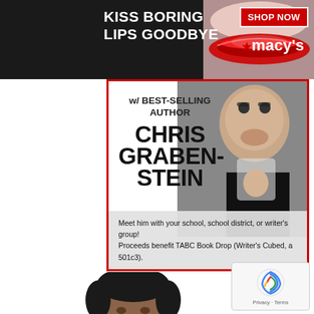[Figure (photo): Macy's advertisement banner: dark background with red lips close-up photo on right, text 'KISS BORING LIPS GOODBYE' in white on left, 'SHOP NOW' red button and Macy's logo with star on right side]
[Figure (infographic): Promotional card with red border featuring best-selling author Chris Grabenstein. Photo of older man with glasses drinking through a straw. Text reads 'w/ BEST-SELLING AUTHOR CHRIS GRABENSTEIN' and 'Meet him with your school, school district, or writer's group! Proceeds benefit TABC Book Drop (Writer's Cubed, a 501c3).']
[Figure (photo): Portrait photo of a smiling young Black man in a white t-shirt, cropped from shoulders up, on white background]
[Figure (logo): Google reCAPTCHA badge in bottom right corner with blue/grey swirl icon and 'Privacy - Terms' text]